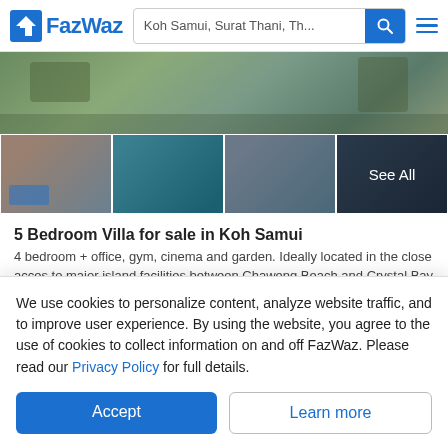FazWaz — Koh Samui, Surat Thani, Th...
[Figure (photo): Photo gallery of a 5 Bedroom Villa in Koh Samui: aerial/exterior top banner, and four interior thumbnail images including living room, kitchen, open-plan dining, with a 'See All' overlay on the last thumbnail.]
5 Bedroom Villa for sale in Koh Samui
4 bedroom + office, gym, cinema and garden. Ideally located in the close acces to major island facilities between Chaweng Beach and Crystal Bay beach on the back of PBISS school. Good for investment a...
5  6  400 SqM  Villa
We use cookies to personalize content, analyze website traffic, and to improve user experience. By using the website, you agree to the use of cookies to collect information on and off FazWaz. Please read our Privacy Policy for full details.
Accept  Learn more